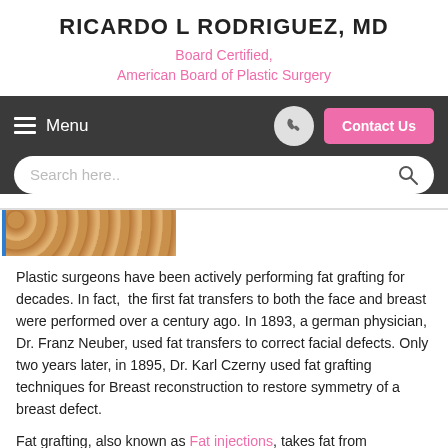RICARDO L RODRIGUEZ, MD
Board Certified,
American Board of Plastic Surgery
[Figure (screenshot): Navigation bar with hamburger menu icon and 'Menu' text, phone icon button, and pink 'Contact Us' button on dark background; below it a rounded search bar with 'Search here..' placeholder text and search icon]
[Figure (photo): Partial image strip showing rows of orange/tan spherical objects (possibly fat grafting implants or similar), with a blue vertical bar on the left edge]
Plastic surgeons have been actively performing fat grafting for decades. In fact,  the first fat transfers to both the face and breast were performed over a century ago. In 1893, a german physician, Dr. Franz Neuber, used fat transfers to correct facial defects. Only two years later, in 1895, Dr. Karl Czerny used fat grafting techniques for Breast reconstruction to restore symmetry of a breast defect.
Fat grafting, also known as Fat injections, takes fat from unwanted areas of your body, carefully processes the fat, and then transfers the fat to areas which need volume. Fat